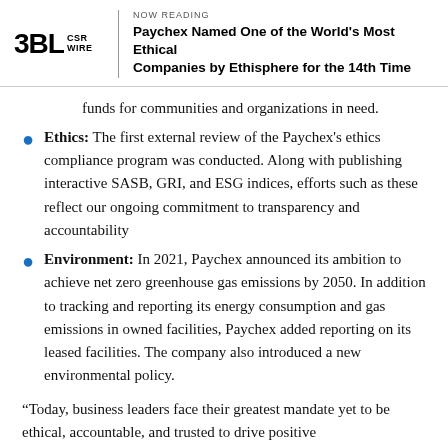NOW READING | Paychex Named One of the World's Most Ethical Companies by Ethisphere for the 14th Time
funds for communities and organizations in need.
Ethics: The first external review of the Paychex's ethics compliance program was conducted. Along with publishing interactive SASB, GRI, and ESG indices, efforts such as these reflect our ongoing commitment to transparency and accountability
Environment: In 2021, Paychex announced its ambition to achieve net zero greenhouse gas emissions by 2050. In addition to tracking and reporting its energy consumption and gas emissions in owned facilities, Paychex added reporting on its leased facilities. The company also introduced a new environmental policy.
“Today, business leaders face their greatest mandate yet to be ethical, accountable, and trusted to drive positive